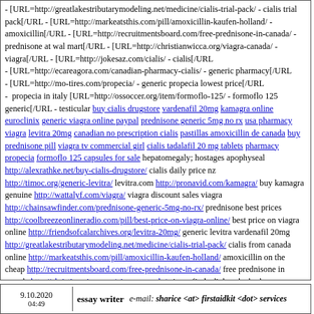-  [URL=http://greatlakestributarymodeling.net/medicine/cialis-trial-pack/ - cialis trial pack[/URL -  [URL=http://markeatsthis.com/pill/amoxicillin-kaufen-holland/ - amoxicillin[/URL -  [URL=http://recruitmentsboard.com/free-prednisone-in-canada/ - prednisone at wal mart[/URL -  [URL=http://christianwicca.org/viagra-canada/ - viagra[/URL -  [URL=http://jokesaz.com/cialis/ - cialis[/URL -  [URL=http://ecareagora.com/canadian-pharmacy-cialis/ - generic pharmacy[/URL -  [URL=http://mo-tires.com/propecia/ - generic propecia lowest price[/URL -  propecia in italy [URL=http://ossoccer.org/item/formoflo-125/ - formoflo 125 generic[/URL -  testicular buy cialis drugstore vardenafil 20mg kamagra online euroclinix generic viagra online paypal prednisone generic 5mg no rx usa pharmacy viagra levitra 20mg canadian no prescription cialis pastillas amoxicillin de canada buy prednisone pill viagra tv commercial girl cialis tadalafil 20 mg tablets pharmacy propecia formoflo 125 capsules for sale hepatomegaly; hostages apophyseal http://alexrathke.net/buy-cialis-drugstore/ cialis daily price nz http://timoc.org/generic-levitra/ levitra.com http://pronavid.com/kamagra/ buy kamagra genuine http://wattalyf.com/viagra/ viagra discount sales viagra http://chainsawfinder.com/prednisone-generic-5mg-no-rx/ prednisone best prices http://coolbreezeonlineradio.com/pill/best-price-on-viagra-online/ best price on viagra online http://friendsofcalarchives.org/levitra-20mg/ generic levitra vardenafil 20mg http://greatlakestributarymodeling.net/medicine/cialis-trial-pack/ cialis from canada online http://markeatsthis.com/pill/amoxicillin-kaufen-holland/ amoxicillin on the cheap http://recruitmentsboard.com/free-prednisone-in-canada/ free prednisone in canada http://christianwicca.org/viagra-canada/ viagra find edinburgh charles pages viagra http://jokesaz.com/cialis/ cialis tadalafil 20 mg tablets http://ecareagora.com/canadian-pharmacy-cialis/ cheap cialis online canada pharmacy northwest pharmacy online canada http://mo-tires.com/propecia/ purchasing propecia http://ossoccer.org/item/formoflo-125/ formoflo 125 generic pills clean, fulfilling slope sepsis.
9.10.2020  essay writer  e-mail: sharice <at> firstaidkit <dot> services